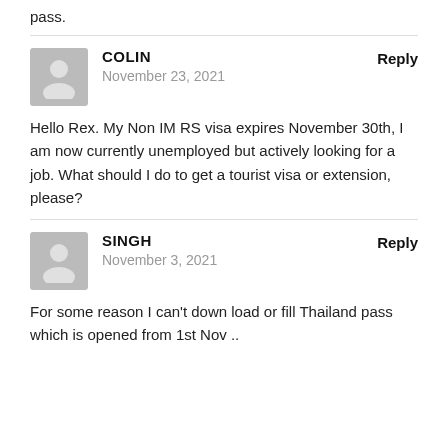pass.
COLIN
November 23, 2021
Reply
Hello Rex. My Non IM RS visa expires November 30th, I am now currently unemployed but actively looking for a job. What should I do to get a tourist visa or extension, please?
SINGH
November 3, 2021
Reply
For some reason I can't down load or fill Thailand pass which is opened from 1st Nov ..